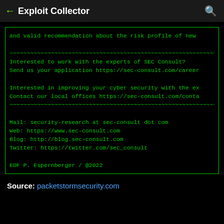← Exploit Collector 🔍
and valid recommendation about the risk profile of new

~~~~~~~~~~~~~~~~~~~~~~~~~~~~~~~~~~~~~~~~~~~~~~~~~~~~~~~~~~~~~~~~~
Interested to work with the experts of SEC Consult?
Send us your application https://sec-consult.com/career

Interested in improving your cyber security with the ex
Contact our local offices https://sec-consult.com/conta
~~~~~~~~~~~~~~~~~~~~~~~~~~~~~~~~~~~~~~~~~~~~~~~~~~~~~~~~~~~~~~~~~

Mail: security-research at sec-consult dot com
Web: https://www.sec-consult.com
Blog: http://blog.sec-consult.com
Twitter: https://twitter.com/sec_consult

EOF P. Espernberger / @2022
Source: packagetstormsecurity.com